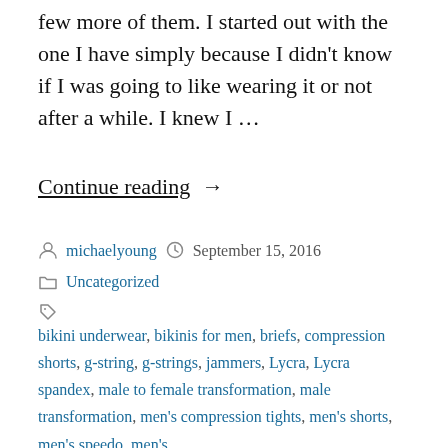few more of them. I started out with the one I have simply because I didn't know if I was going to like wearing it or not after a while. I knew I …
Continue reading →
by michaelyoung  September 15, 2016
Uncategorized
bikini underwear, bikinis for men, briefs, compression shorts, g-string, g-strings, jammers, Lycra, Lycra spandex, male to female transformation, male transformation, men's compression tights, men's shorts, men's speedo, men's